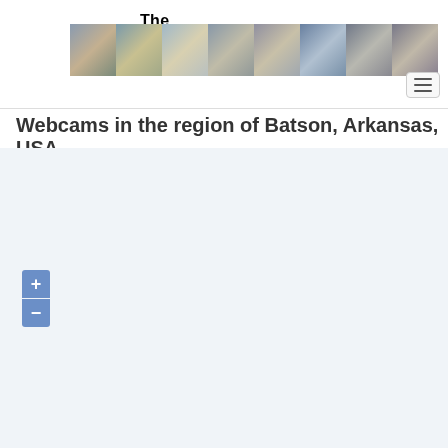The Webcam-Network
[Figure (photo): Banner strip of webcam thumbnail photos showing various world locations including mountains, cityscapes, and landmarks]
Webcams in the region of Batson, Arkansas, USA
[Figure (map): Interactive map area showing region of Batson, Arkansas, USA with zoom controls (+/-)]